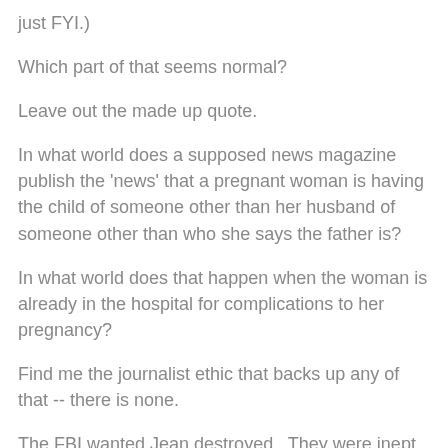just FYI.)
Which part of that seems normal?
Leave out the made up quote.
In what world does a supposed news magazine publish the 'news' that a pregnant woman is having the child of someone other than her husband of someone other than who she says the father is?
In what world does that happen when the woman is already in the hospital for complications to her pregnancy?
Find me the journalist ethic that backs up any of that -- there is none.
The FBI wanted Jean destroyed.  They were inept at best.  The CIA took over the operation and Jean lost